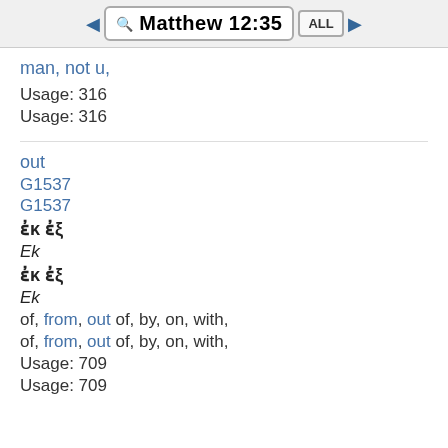Matthew 12:35
man, not u,
Usage: 316
Usage: 316
out
G1537
G1537
ἐκ ἐξ
Ek
ἐκ ἐξ
Ek
of, from, out of, by, on, with,
of, from, out of, by, on, with,
Usage: 709
Usage: 709